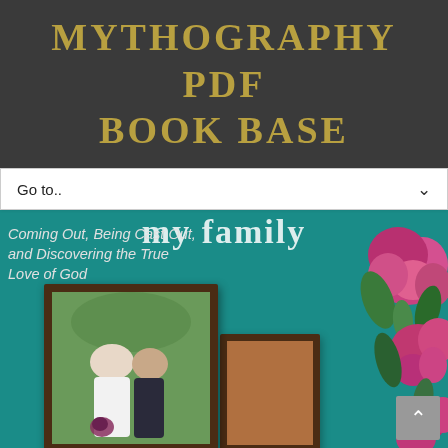MYTHOGRAPHY PDF BOOK BASE
[Figure (screenshot): Website navigation bar with 'Go to..' dropdown selector]
[Figure (photo): Book cover for a memoir about coming out, being cast out, and discovering the true love of God. Teal background with flowers and a framed wedding photo of two women. Subtitle text: 'Coming Out, Being Cast Out, and Discovering the True Love of God']